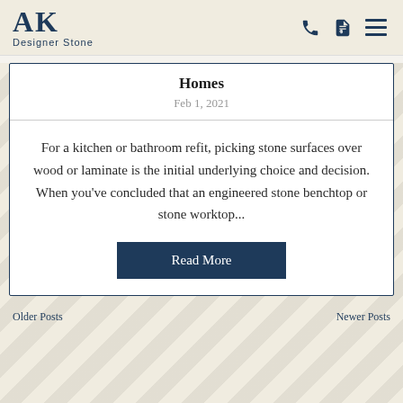AK Designer Stone
Homes
Feb 1, 2021
For a kitchen or bathroom refit, picking stone surfaces over wood or laminate is the initial underlying choice and decision. When you've concluded that an engineered stone benchtop or stone worktop...
Read More
Older Posts   Newer Posts